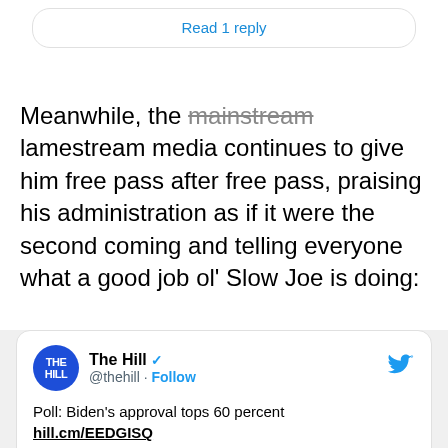Read 1 reply
Meanwhile, the mainstream lamestream media continues to give him free pass after free pass, praising his administration as if it were the second coming and telling everyone what a good job ol’ Slow Joe is doing:
[Figure (screenshot): Embedded tweet from The Hill (@thehill) with verified badge and Follow button. Tweet text: Poll: Biden's approval tops 60 percent hill.cm/EEDGISQ. Includes a photo of Joe Biden.]